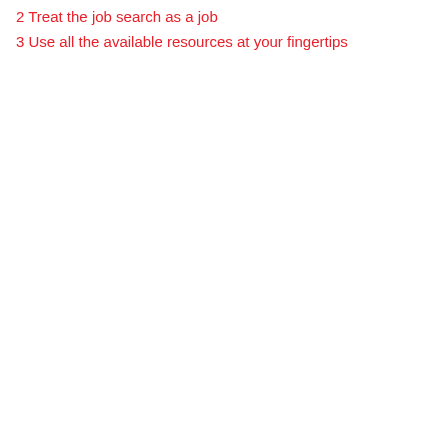2 Treat the job search as a job
3 Use all the available resources at your fingertips